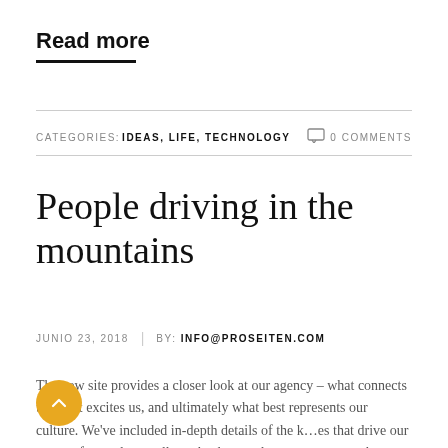Read more
CATEGORIES: IDEAS, LIFE, TECHNOLOGY   0 COMMENTS
People driving in the mountains
JUNIO 23, 2018  |  BY: INFO@PROSEITEN.COM
The new site provides a closer look at our agency – what connects us, what excites us, and ultimately what best represents our culture. We've included in-depth details of the k…es that drive our agency forward, as well as a background on our team members, fun facts about our...